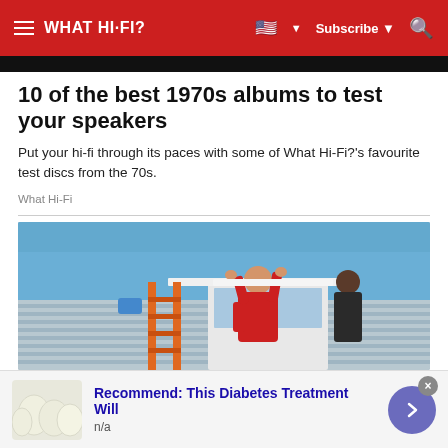WHAT HI-FI?  Subscribe
10 of the best 1970s albums to test your speakers
Put your hi-fi through its paces with some of What Hi-Fi?'s favourite test discs from the 70s.
What Hi-Fi
[Figure (photo): A person in a red shirt on an orange ladder installing or adjusting something on the exterior wall of a house with blue siding and a white-framed window, under a clear blue sky.]
Recommend: This Diabetes Treatment Will
n/a